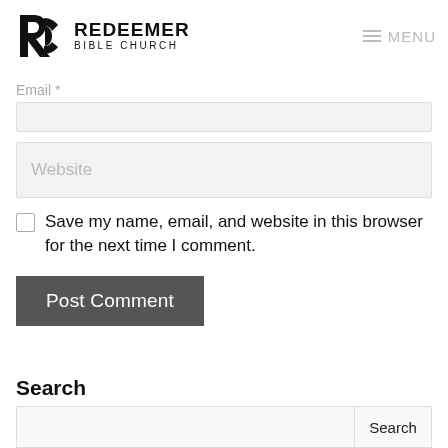REDEEMER BIBLE CHURCH — MENU
Email *
Website
Save my name, email, and website in this browser for the next time I comment.
Post Comment
Search
Search